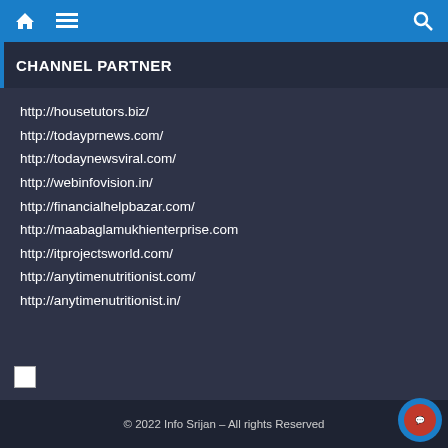Home | Menu | Search
CHANNEL PARTNER
http://housetutors.biz/
http://todayprnews.com/
http://todaynewsviral.com/
http://webinfovision.in/
http://financialhelpbazar.com/
http://maabaglamukhienterprise.com
http://itprojectsworld.com/
http://anytimenutritionist.com/
http://anytimenutritionist.in/
© 2022 Info Srijan – All rights Reserved